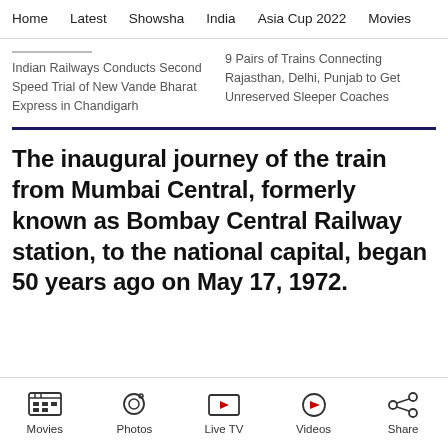Home  Latest  Showsha  India  Asia Cup 2022  Movies
Indian Railways Conducts Second Speed Trial of New Vande Bharat Express in Chandigarh
9 Pairs of Trains Connecting Rajasthan, Delhi, Punjab to Get Unreserved Sleeper Coaches
The inaugural journey of the train from Mumbai Central, formerly known as Bombay Central Railway station, to the national capital, began 50 years ago on May 17, 1972.
Movies  Photos  Live TV  Videos  Share